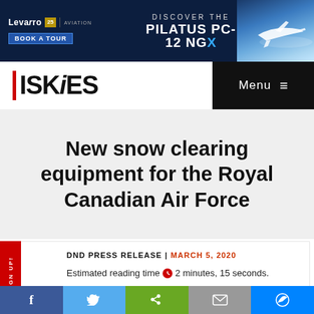[Figure (infographic): Advertisement banner for Levaro Aviation 25th anniversary featuring Pilatus PC-12 NGX aircraft with blue background and airplane image. Contains 'BOOK A TOUR' button and 'DISCOVER THE PILATUS PC-12 NGX' text.]
ISKIES | Menu
New snow clearing equipment for the Royal Canadian Air Force
DND PRESS RELEASE | MARCH 5, 2020
Estimated reading time 2 minutes, 15 seconds.
[Figure (infographic): Social media share bar with Facebook, Twitter, Share, Email, and Messenger buttons]